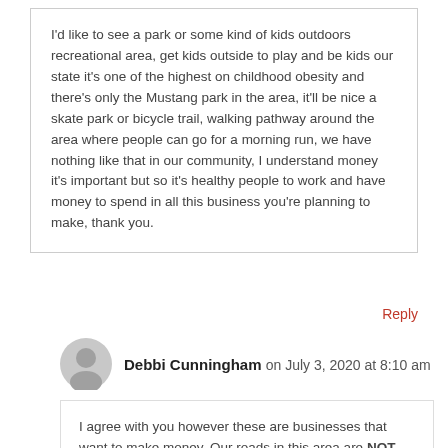I'd like to see a park or some kind of kids outdoors recreational area, get kids outside to play and be kids our state it's one of the highest on childhood obesity and there's only the Mustang park in the area, it'll be nice a skate park or bicycle trail, walking pathway around the area where people can go for a morning run, we have nothing like that in our community, I understand money it's important but so it's healthy people to work and have money to spend in all this business you're planning to make, thank you.
Reply
Debbi Cunningham on July 3, 2020 at 8:10 am
I agree with you however these are businesses that want to make money. Our roads in this area are NOT set up for the kind of traffic they have around Chisholm Creek. Roads would need to be widened and more traffic lights installed. I live less than 1/2 mile from this intersection. Very sad.